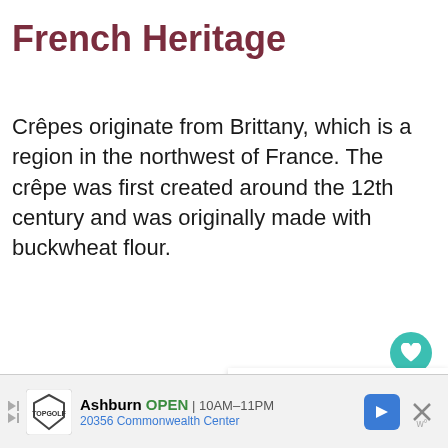French Heritage
Crêpes originate from Brittany, which is a region in the northwest of France. The crêpe was first created around the 12th century and was originally made with buckwheat flour.
[Figure (other): Heart/like button (teal circle with heart icon) showing 333 likes, and a share button below it]
[Figure (other): What's Next promotional banner showing food image thumbnail and text '40+ Pantry Staple Meals...' with arrow]
[Figure (other): Advertisement bar for TopGolf Ashburn showing OPEN 10AM-11PM and address 20356 Commonwealth Center, with navigation arrow icon and close button]